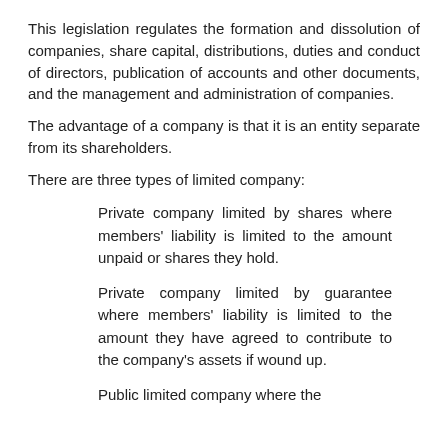This legislation regulates the formation and dissolution of companies, share capital, distributions, duties and conduct of directors, publication of accounts and other documents, and the management and administration of companies.
The advantage of a company is that it is an entity separate from its shareholders.
There are three types of limited company:
Private company limited by shares where members’ liability is limited to the amount unpaid or shares they hold.
Private company limited by guarantee where members’ liability is limited to the amount they have agreed to contribute to the company’s assets if wound up.
Public limited company where the